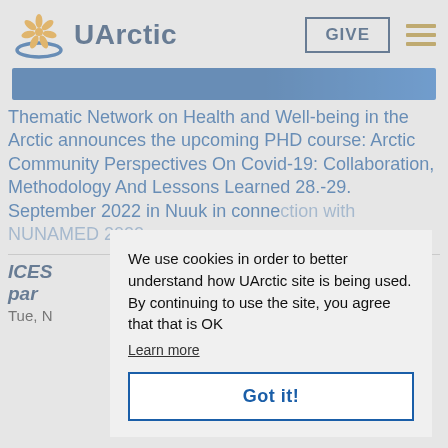[Figure (logo): UArctic logo with stylized flower/sun in gold and blue, and a blue crescent underneath, next to bold blue text 'UArctic']
GIVE
Thematic Network on Health and Well-being in the Arctic announces the upcoming PHD course: Arctic Community Perspectives On Covid-19: Collaboration, Methodology And Lessons Learned 28.-29. September 2022 in Nuuk in connection with NUNAMED 2022
ICES par
Tue, N
We use cookies in order to better understand how UArctic site is being used. By continuing to use the site, you agree that that is OK
Learn more
Got it!